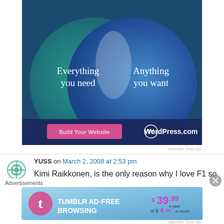[Figure (illustration): WordPress.com advertisement showing a Venn diagram with two overlapping circles – teal on left labeled 'Everything you need' and blue on right labeled 'Anything you want'. Below is a pink 'Build Your Website' button and WordPress.com logo on dark blue background.]
REPORT THIS AD
YUSS on March 2, 2008 at 2:53 pm
Kimi Raikkonen, is the only reason why I love F1 so much.   Without him I won't be bother when &
Advertisements
[Figure (illustration): Tumblr Ad-Free Browsing advertisement showing $39.99 a year or $4.99 a month pricing with Tumblr logo on a blue gradient background.]